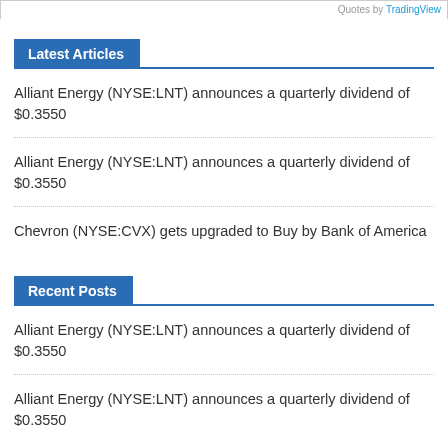Quotes by TradingView
Latest Articles
Alliant Energy (NYSE:LNT) announces a quarterly dividend of $0.3550
Alliant Energy (NYSE:LNT) announces a quarterly dividend of $0.3550
Chevron (NYSE:CVX) gets upgraded to Buy by Bank of America
Recent Posts
Alliant Energy (NYSE:LNT) announces a quarterly dividend of $0.3550
Alliant Energy (NYSE:LNT) announces a quarterly dividend of $0.3550